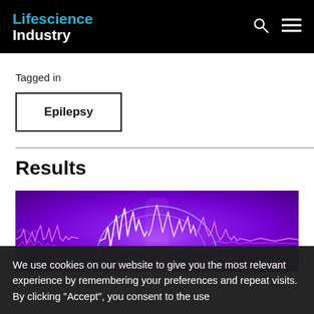Lifescience Industry
Tagged in
Epilepsy
Results
[Figure (illustration): Purple background with brain/neural wave patterns — pink/white EEG-like waveforms and a glowing brain silhouette]
We use cookies on our website to give you the most relevant experience by remembering your preferences and repeat visits. By clicking “Accept”, you consent to the use